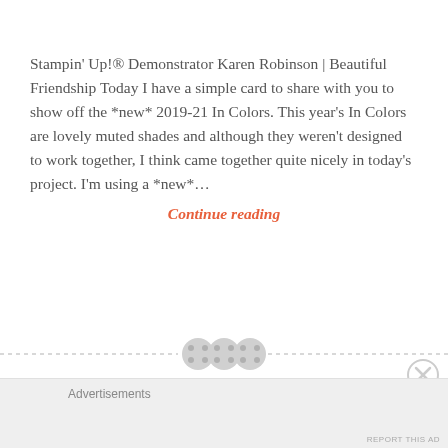Stampin' Up!® Demonstrator Karen Robinson | Beautiful Friendship Today I have a simple card to share with you to show off the *new* 2019-21 In Colors. This year's In Colors are lovely muted shades and although they weren't designed to work together, I think came together quite nicely in today's project. I'm using a *new*...
Continue reading
Advertisements
REPORT THIS AD